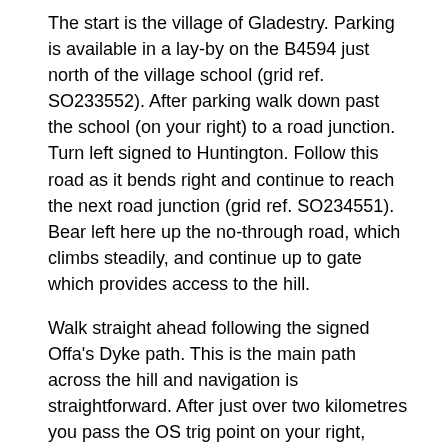The start is the village of Gladestry. Parking is available in a lay-by on the B4594 just north of the village school (grid ref. SO233552). After parking walk down past the school (on your right) to a road junction. Turn left signed to Huntington. Follow this road as it bends right and continue to reach the next road junction (grid ref. SO234551). Bear left here up the no-through road, which climbs steadily, and continue up to gate which provides access to the hill.
Walk straight ahead following the signed Offa's Dyke path. This is the main path across the hill and navigation is straightforward. After just over two kilometres you pass the OS trig point on your right, which can be visited with very little extra effort. Away to your left you have outstanding views which reach as far as the Brecon Beacons National Park while to your right the views extend to the Shropshire Hills.
Stay on the Offa's Dyke Path, which starts to descend for a further kilometre. Ahead is a grand view down to Kington. You reach a fence with a field beyond (grid ref. SO273568).